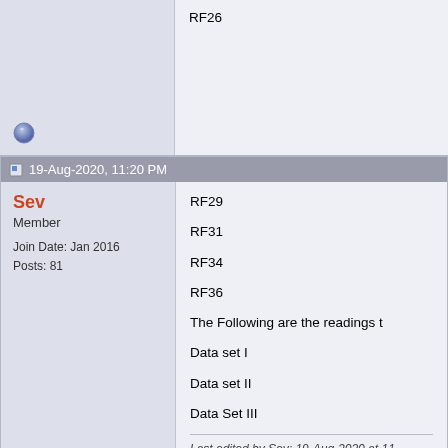RF26
19-Aug-2020, 11:20 PM
Sev
Member
Join Date: Jan 2016
Posts: 81
RF29

RF31

RF34

RF36

The Following are the readings t

Data set I

Data set II

Data Set III
Last edited by Sev; 19-Aug-2020 at 11